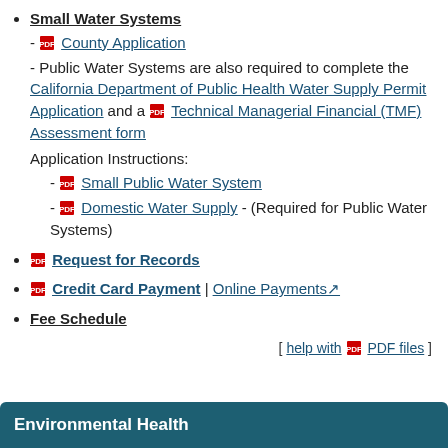Small Water Systems - County Application - Public Water Systems are also required to complete the California Department of Public Health Water Supply Permit Application and a Technical Managerial Financial (TMF) Assessment form Application Instructions: - Small Public Water System - Domestic Water Supply - (Required for Public Water Systems)
Request for Records
Credit Card Payment | Online Payments
Fee Schedule
[ help with PDF files ]
Environmental Health